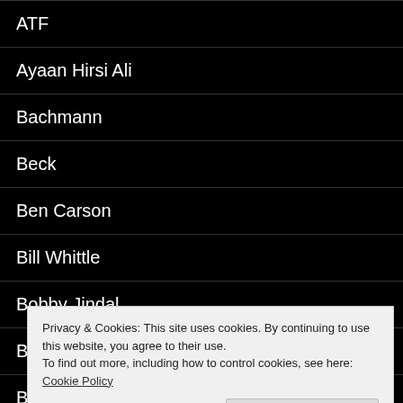ATF
Ayaan Hirsi Ali
Bachmann
Beck
Ben Carson
Bill Whittle
Bobby Jindal
Border
Breitbart is Here
Privacy & Cookies: This site uses cookies. By continuing to use this website, you agree to their use.
To find out more, including how to control cookies, see here: Cookie Policy
Close and accept